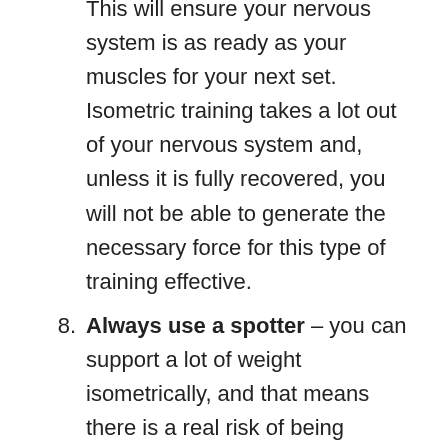This will ensure your nervous system is as ready as your muscles for your next set. Isometric training takes a lot out of your nervous system and, unless it is fully recovered, you will not be able to generate the necessary force for this type of training effective.
8. Always use a spotter – you can support a lot of weight isometrically, and that means there is a real risk of being pinned by a heavy load. Use spotter who is ready to step in if you are unable to lift the weight yourself. For some exercises and